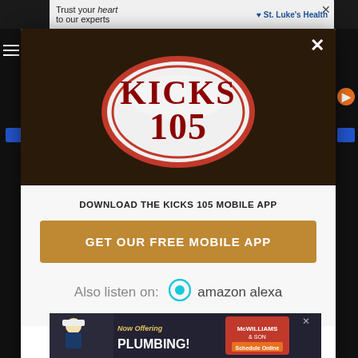[Figure (screenshot): Top advertisement banner for St. Luke's Health with tagline 'Trust your heart to our experts']
[Figure (logo): Kicks 105 radio station logo — oval with red border on dark brown background, text 'KICKS 105' in red serif font]
DOWNLOAD THE KICKS 105 MOBILE APP
GET OUR FREE MOBILE APP
Also listen on:  amazon alexa
[Figure (screenshot): Bottom advertisement banner for McWilliams & Son plumbing with text 'Now Offering PLUMBING! Schedule Online']